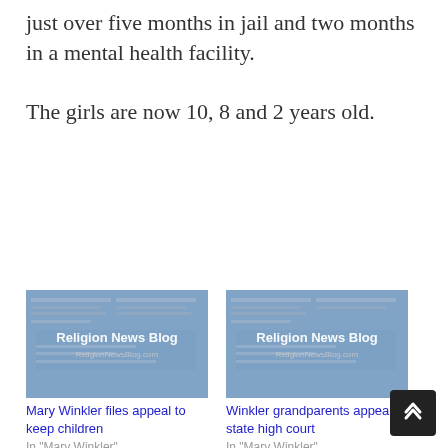just over five months in jail and two months in a mental health facility.

The girls are now 10, 8 and 2 years old.
[Figure (photo): Religion News Blog thumbnail image showing newspaper stack]
Mary Winkler files appeal to keep children
In "Mary Winkler"
[Figure (photo): Religion News Blog thumbnail image showing newspaper stack]
Winkler grandparents appeal to state high court
In "Mary Winkler"
[Figure (photo): Religion News Blog thumbnail image showing newspaper stack]
Court: Mary Winkler may